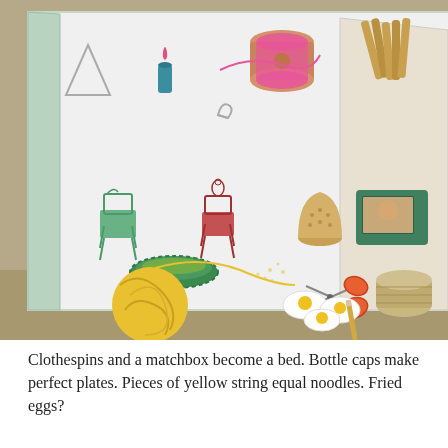[Figure (photo): A photograph of an illustrated book open and propped at an angle, showing whimsical watercolor illustrations of small objects: a triangle/cone, candle, spool of pink thread, safety pin, two chairs (green and red), a thimble, scissors, a green pie tin/bottle cap, a ball of yellow yarn with string, fried eggs, a pencil/knitting needle. In the background, wooden clothespins, a small green box/TV, and a wicker basket are visible on a wooden surface.]
Clothespins and a matchbox become a bed. Bottle caps make perfect plates. Pieces of yellow string equal noodles. Fried eggs?